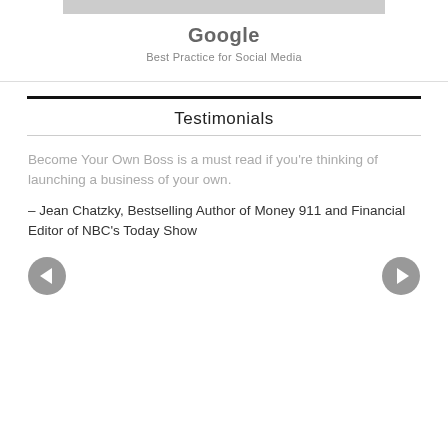[Figure (photo): Partial photo at the top of the page (cropped, showing background)]
Google
Best Practice for Social Media
Testimonials
Become Your Own Boss is a must read if you're thinking of launching a business of your own.
– Jean Chatzky, Bestselling Author of Money 911 and Financial Editor of NBC's Today Show